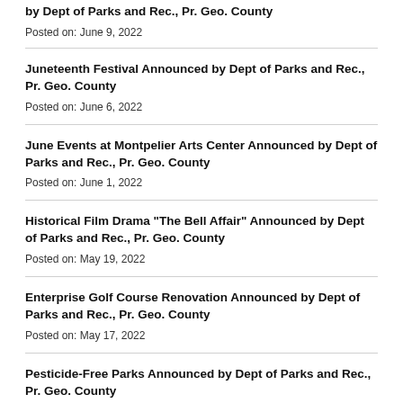by Dept of Parks and Rec., Pr. Geo. County
Posted on: June 9, 2022
Juneteenth Festival Announced by Dept of Parks and Rec., Pr. Geo. County
Posted on: June 6, 2022
June Events at Montpelier Arts Center Announced by Dept of Parks and Rec., Pr. Geo. County
Posted on: June 1, 2022
Historical Film Drama "The Bell Affair" Announced by Dept of Parks and Rec., Pr. Geo. County
Posted on: May 19, 2022
Enterprise Golf Course Renovation Announced by Dept of Parks and Rec., Pr. Geo. County
Posted on: May 17, 2022
Pesticide-Free Parks Announced by Dept of Parks and Rec., Pr. Geo. County